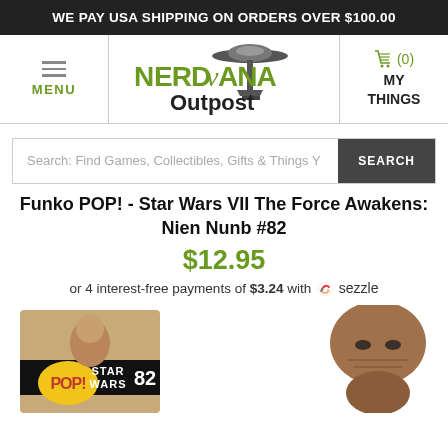WE PAY USA SHIPPING ON ORDERS OVER $100.00
[Figure (logo): Nerdvana Outpost store logo with space needle and UFO imagery]
MENU
(0) MY THINGS
Search: Find Games, Collectibles, Gifts & Things Y
Funko POP! - Star Wars VII The Force Awakens: Nien Nunb #82
$12.95
or 4 interest-free payments of $3.24 with sezzle
[Figure (photo): Product photo showing Funko POP Star Wars Nien Nunb #82 box on left and the vinyl figure on right]